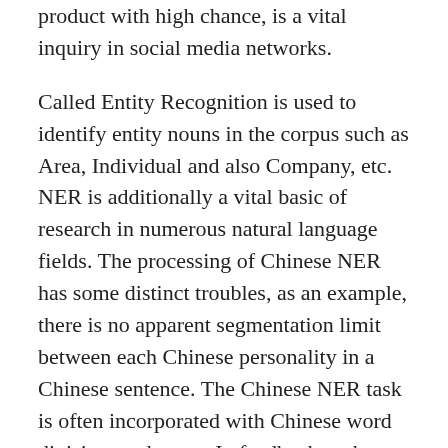product with high chance, is a vital inquiry in social media networks.
Called Entity Recognition is used to identify entity nouns in the corpus such as Area, Individual and also Company, etc. NER is additionally a vital basic of research in numerous natural language fields. The processing of Chinese NER has some distinct troubles, as an example, there is no apparent segmentation limit between each Chinese personality in a Chinese sentence. The Chinese NER task is often incorporated with Chinese word division, and so on. In feedback to these problems, we sum up the acknowledgment approaches of Chinese NER. In this review, we first introduce the sequence labeling system and also examination